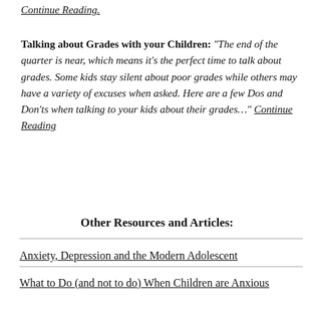Continue Reading.
Talking about Grades with your Children: "The end of the quarter is near, which means it's the perfect time to talk about grades. Some kids stay silent about poor grades while others may have a variety of excuses when asked. Here are a few Dos and Don'ts when talking to your kids about their grades..." Continue Reading
Other Resources and Articles:
Anxiety, Depression and the Modern Adolescent
What to Do (and not to do) When Children are Anxious